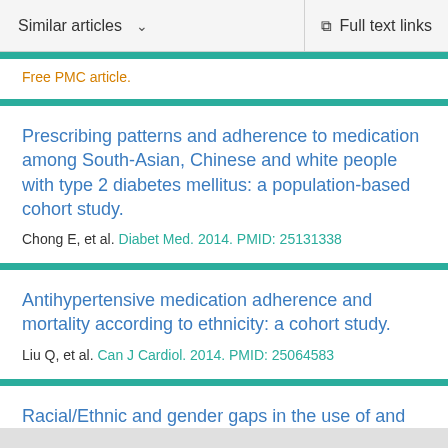Similar articles   Full text links
Free PMC article.
Prescribing patterns and adherence to medication among South-Asian, Chinese and white people with type 2 diabetes mellitus: a population-based cohort study.
Chong E, et al. Diabet Med. 2014. PMID: 25131338
Antihypertensive medication adherence and mortality according to ethnicity: a cohort study.
Liu Q, et al. Can J Cardiol. 2014. PMID: 25064583
Racial/Ethnic and gender gaps in the use of and